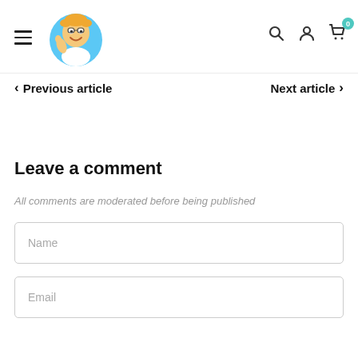[Figure (logo): Cartoon mascot logo: blonde man with thumbs up inside a circle]
Navigation header with hamburger menu, logo, search, account, and cart icons
< Previous article    Next article >
Leave a comment
All comments are moderated before being published
Name
Email